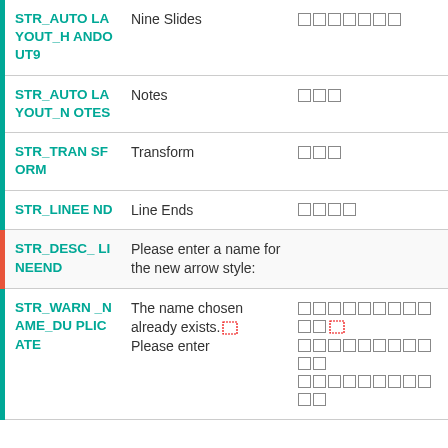| Key | Label | Value | Actions |
| --- | --- | --- | --- |
| STR_AUTOLAYOUT_HANDOUT9 | Nine Slides | 9🀫🀫🀫🀫🀫🀫 | copy paste |
| STR_AUTOLAYOUT_NOTES | Notes | 🀫🀫🀫 | copy paste |
| STR_TRANSFORM | Transform | 🀫🀫🀫 | copy paste |
| STR_LINEEND | Line Ends | 🀫🀫🀫🀫 | copy paste |
| STR_DESC_LINEEND | Please enter a name for the new arrow style: |  | copy paste |
| STR_WARN_NAME_DUPLICATE | The name chosen already exists. Please enter | 🀫🀫🀫🀫🀫🀫🀫🀫🀫🀫🀫 🀫🀫🀫🀫🀫🀫🀫🀫🀫🀫🀫 🀫🀫🀫🀫🀫🀫🀫🀫🀫🀫🀫 | copy paste |